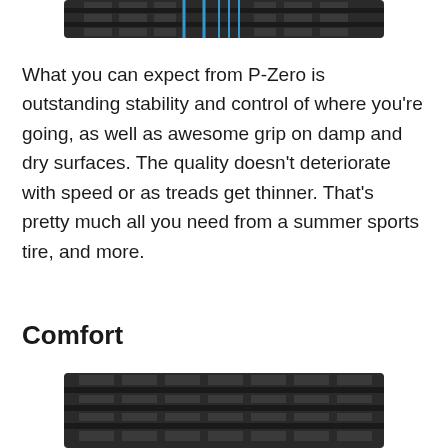[Figure (illustration): Top portion of a tire tread illustration with blue accent lines on dark tread pattern]
What you can expect from P-Zero is outstanding stability and control of where you’re going, as well as awesome grip on damp and dry surfaces. The quality doesn’t deteriorate with speed or as treads get thinner. That’s pretty much all you need from a summer sports tire, and more.
Comfort
[Figure (illustration): Bottom portion of a tire tread illustration showing dark tread pattern from below]